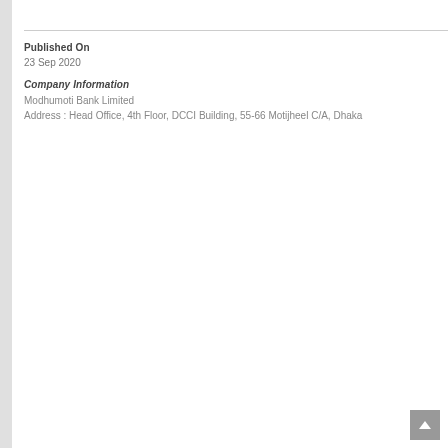Published On
23 Sep 2020
Company Information
Modhumoti Bank Limited
Address : Head Office, 4th Floor, DCCI Building, 55-66 Motijheel C/A, Dhaka